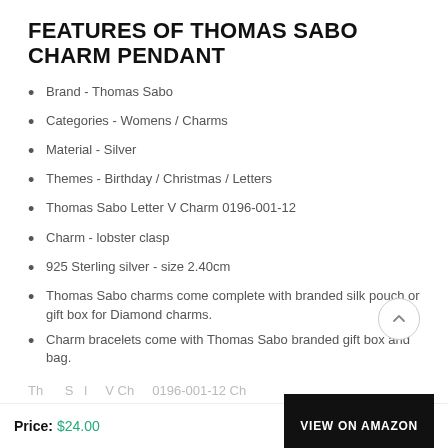FEATURES OF THOMAS SABO CHARM PENDANT
Brand - Thomas Sabo
Categories - Womens / Charms
Material - Silver
Themes - Birthday / Christmas / Letters
Thomas Sabo Letter V Charm 0196-001-12
Charm - lobster clasp
925 Sterling silver - size 2.40cm
Thomas Sabo charms come complete with branded silk pouch or gift box for Diamond charms.
Charm bracelets come with Thomas Sabo branded gift box and bag.
Thomas Sabo letter V Charm 0196-001-12 Cha…
Price: $24.00   VIEW ON AMAZON